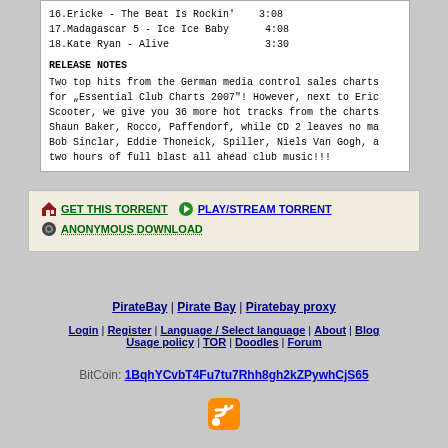16.Ericke - The Beat Is Rockin'    3:08
17.Madagascar 5 - Ice Ice Baby      4:08
18.Kate Ryan - Alive                3:30
RELEASE NOTES
Two top hits from the German media control sales charts for "Essential Club Charts 2007"! However, next to Eric Scooter, we give you 36 more hot tracks from the charts Shaun Baker, Rocco, Paffendorf, while CD 2 leaves no ma Bob Sinclar, Eddie Thoneick, Spiller, Niels Van Gogh, a two hours of full blast all ahead club music!!!
GET THIS TORRENT   PLAY/STREAM TORRENT
ANONYMOUS DOWNLOAD
PirateBay | Pirate Bay | Piratebay proxy
Login | Register | Language / Select language | About | Blog
Usage policy | TOR | Doodles | Forum
BitCoin: 1BqhYCvbT4Fu7tu7Rhh8gh2kZPywhCjS65
[Figure (other): RSS feed icon]